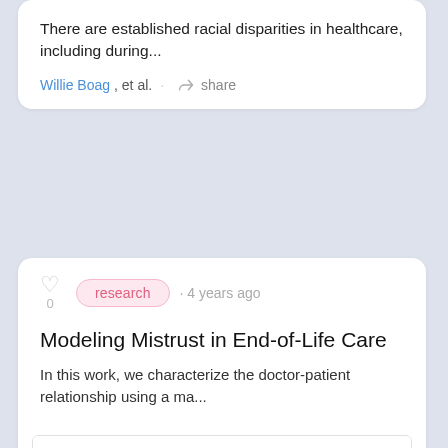There are established racial disparities in healthcare, including during...
Willie Boag, et al. · share
research · 4 years ago
Modeling Mistrust in End-of-Life Care
In this work, we characterize the doctor-patient relationship using a ma...
[Figure (screenshot): Thumbnail of an academic paper titled 'Modeling Mistrust in End-of-Life Care' showing the abstract and author list including Willie Boag, Harini Suresh, Leo Anthony Celi, Peter Szolovits, Marzyeh Ghassemi, with two-column abstract text and bullet point contributions.]